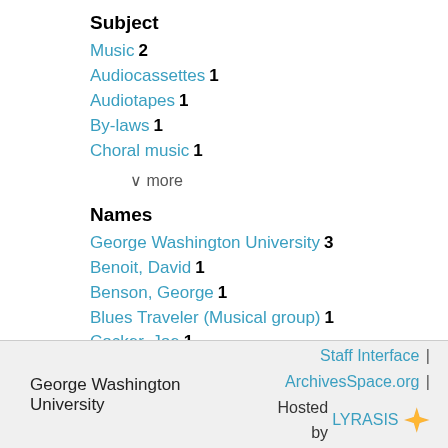Subject
Music  2
Audiocassettes  1
Audiotapes  1
By-laws  1
Choral music  1
∨ more
Names
George Washington University  3
Benoit, David  1
Benson, George  1
Blues Traveler (Musical group)  1
Cocker, Joe  1
∨ more
George Washington University | Staff Interface | ArchivesSpace.org | Hosted by LYRASIS